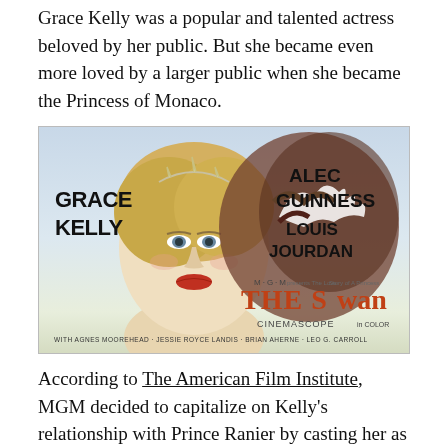Grace Kelly was a popular and talented actress beloved by her public. But she became even more loved by a larger public when she became the Princess of Monaco.
[Figure (photo): Movie poster for 'The Swan' (MGM) featuring Grace Kelly, Alec Guinness, Louis Jourdan. Text on poster: GRACE KELLY, ALEC GUINNESS, LOUIS JOURDAN, M·G·M presents The Love Story of A Princess, THE SWAN, A CINEMASCOPE in COLOR, WITH AGNES MOOREHEAD · JESSIE ROYCE LANDIS · BRIAN AHERNE · LEO G. CARROLL]
According to The American Film Institute, MGM decided to capitalize on Kelly's relationship with Prince Ranier by casting her as Princess Alexandra in the film The Swan. They even co-ordinated the release date of the film with